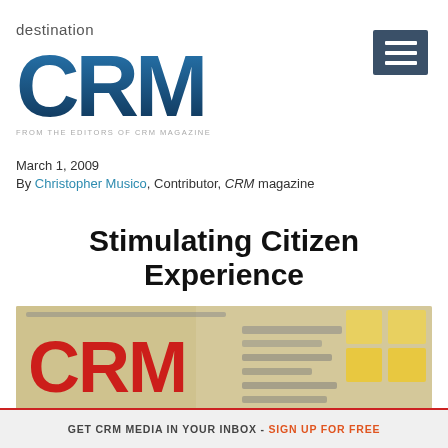[Figure (logo): destination CRM logo with blue gradient CRM letters and tagline 'FROM THE EDITORS OF CRM MAGAZINE']
March 1, 2009
By Christopher Musico, Contributor, CRM magazine
Stimulating Citizen Experience
[Figure (photo): Blurred/cropped CRM magazine cover showing red CRM logo letters and yellow elements]
GET CRM MEDIA IN YOUR INBOX - SIGN UP FOR FREE